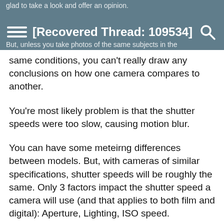glad to take a look and offer an opinion.
[Recovered Thread: 109534]
But, unless you take photos of the same subjects in the
same conditions, you can't really draw any conclusions on how one camera compares to another.
You're most likely problem is that the shutter speeds were too slow, causing motion blur.
You can have some meteirng differences between models. But, with cameras of similar specifications, shutter speeds will be roughly the same. Only 3 factors impact the shutter speed a camera will use (and that applies to both film and digital): Aperture, Lighting, ISO speed.
Sometimes a user can hold one camera steadier compared to another (due to size, weight, ergonomics, tension in shutter button and more). So, there's probably nothing wrong with the camera.